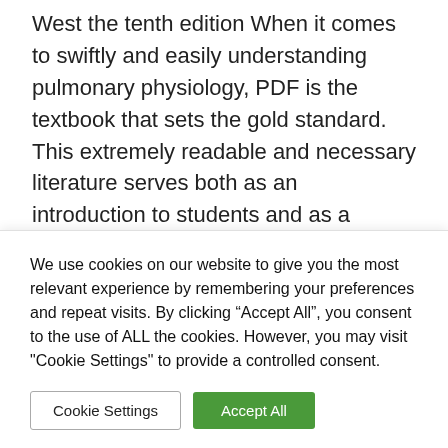West the tenth edition When it comes to swiftly and easily understanding pulmonary physiology, PDF is the textbook that sets the gold standard. This extremely readable and necessary literature serves both as an introduction to students and as a review for various licensure and certification exams. New clinical vignettes, additional multiple-choice review questions, and up-to-date information on key topics in respiratory physiology, such as metabolism and blood flow, gas transport by the blood, and the physiology of high
We use cookies on our website to give you the most relevant experience by remembering your preferences and repeat visits. By clicking “Accept All”, you consent to the use of ALL the cookies. However, you may visit "Cookie Settings" to provide a controlled consent.